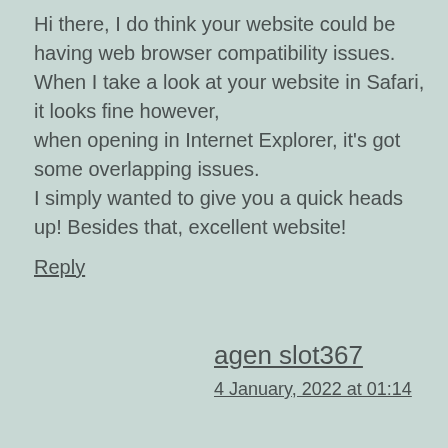Hi there, I do think your website could be having web browser compatibility issues. When I take a look at your website in Safari, it looks fine however, when opening in Internet Explorer, it's got some overlapping issues. I simply wanted to give you a quick heads up! Besides that, excellent website!
Reply
agen slot367
4 January, 2022 at 01:14